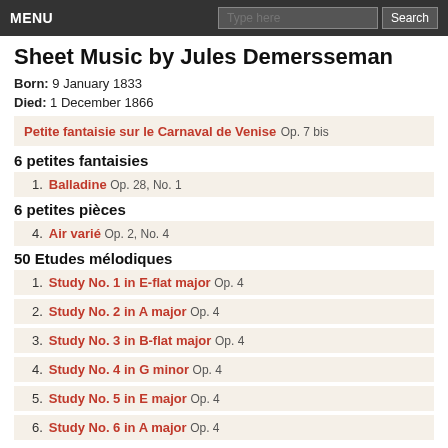MENU | Type here | Search
Sheet Music by Jules Demersseman
Born: 9 January 1833
Died: 1 December 1866
Petite fantaisie sur le Carnaval de Venise Op. 7 bis
6 petites fantaisies
1. Balladine Op. 28, No. 1
6 petites pièces
4. Air varié Op. 2, No. 4
50 Etudes mélodiques
1. Study No. 1 in E-flat major Op. 4
2. Study No. 2 in A major Op. 4
3. Study No. 3 in B-flat major Op. 4
4. Study No. 4 in G minor Op. 4
5. Study No. 5 in E major Op. 4
6. Study No. 6 in A major Op. 4